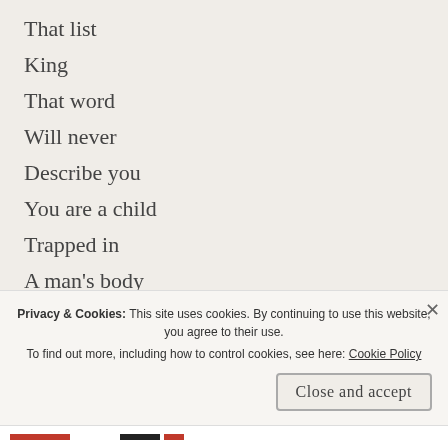That list
King
That word
Will never
Describe you
You are a child
Trapped in
A man's body
Playing games
With women's
Privacy & Cookies: This site uses cookies. By continuing to use this website, you agree to their use. To find out more, including how to control cookies, see here: Cookie Policy
Close and accept